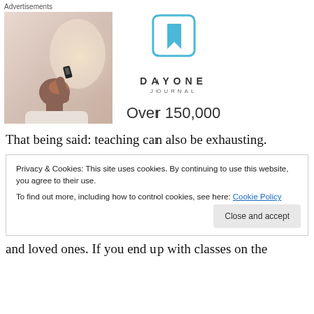[Figure (infographic): Advertisement block with Day One Journal logo, bookmark icon, and 'Over 150,000' text alongside a photo of a person holding a phone up to the sky]
Advertisements
That being said: teaching can also be exhausting.
Privacy & Cookies: This site uses cookies. By continuing to use this website, you agree to their use.
To find out more, including how to control cookies, see here: Cookie Policy
and loved ones. If you end up with classes on the